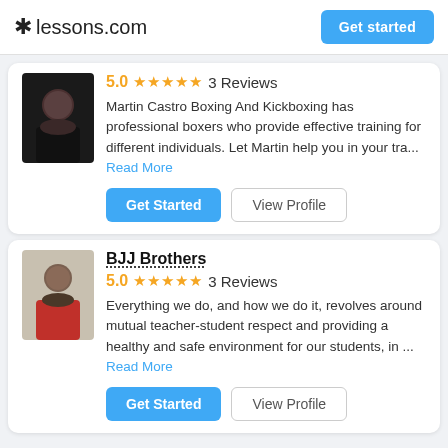lessons.com  Get started
5.0  ★★★★★  3 Reviews
Martin Castro Boxing And Kickboxing has professional boxers who provide effective training for different individuals. Let Martin help you in your tra... Read More
Get Started  View Profile
BJJ Brothers
5.0  ★★★★★  3 Reviews
Everything we do, and how we do it, revolves around mutual teacher-student respect and providing a healthy and safe environment for our students, in ... Read More
Get Started  View Profile